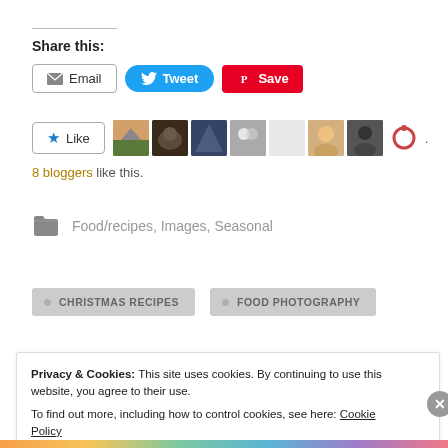Share this:
Email  Tweet  Save
Like  8 bloggers like this.
Food/recipes, Images, Seasonal
CHRISTMAS RECIPES
FOOD PHOTOGRAPHY
Privacy & Cookies: This site uses cookies. By continuing to use this website, you agree to their use. To find out more, including how to control cookies, see here: Cookie Policy
Close and accept